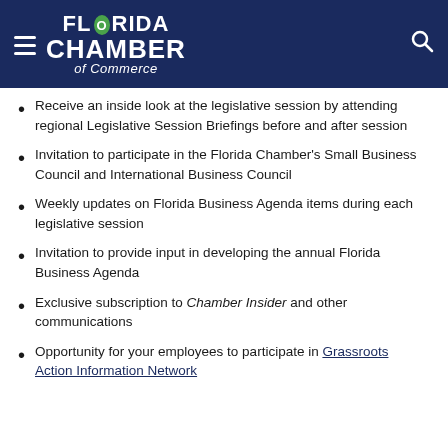[Figure (logo): Florida Chamber of Commerce logo on dark navy blue header bar with hamburger menu icon on the left and search icon on the right]
Receive an inside look at the legislative session by attending regional Legislative Session Briefings before and after session
Invitation to participate in the Florida Chamber's Small Business Council and International Business Council
Weekly updates on Florida Business Agenda items during each legislative session
Invitation to provide input in developing the annual Florida Business Agenda
Exclusive subscription to Chamber Insider and other communications
Opportunity for your employees to participate in Grassroots Action Information Network